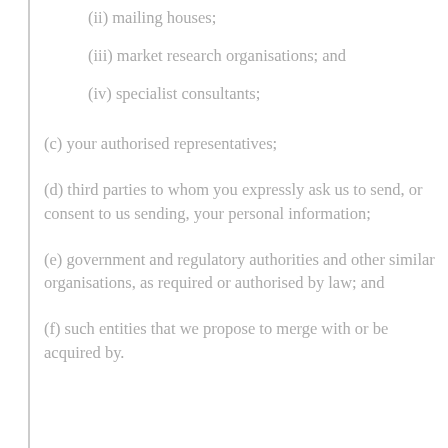(ii) mailing houses;
(iii) market research organisations; and
(iv) specialist consultants;
(c) your authorised representatives;
(d) third parties to whom you expressly ask us to send, or consent to us sending, your personal information;
(e) government and regulatory authorities and other similar organisations, as required or authorised by law; and
(f) such entities that we propose to merge with or be acquired by.